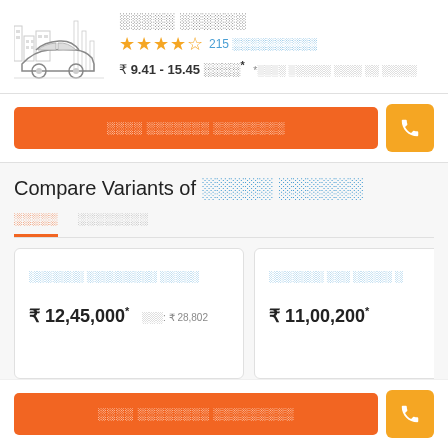[Figure (illustration): Car silhouette icon with cityscape background, greyscale line art]
░░░░░ ░░░░░░
★★★★½ 215 ░░░░░░░░░░
₹ 9.41 - 15.45 ░░░░* *░░░░ ░░░░░░ ░░░░ ░░ ░░░░░
░░░░ ░░░░░░░ ░░░░░░░░
Compare Variants of ░░░░░ ░░░░░░
░░░░░
░░░░░░░░
| Variant | Price | EMI |
| --- | --- | --- |
| ░░░░░░░ ░░░░░░░░░ ░░░░░ | ₹ 12,45,000* | ░░░: ₹ 28,802 |
| ░░░░░░░ ░░░ ░░░░░ ░ | ₹ 11,00,200* |  |
░░░░ ░░░░░░░░ ░░░░░░░░░